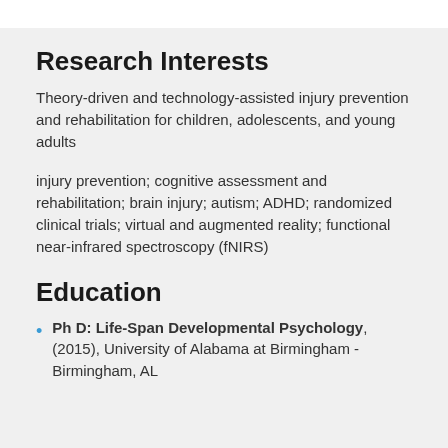Research Interests
Theory-driven and technology-assisted injury prevention and rehabilitation for children, adolescents, and young adults
injury prevention; cognitive assessment and rehabilitation; brain injury; autism; ADHD; randomized clinical trials; virtual and augmented reality; functional near-infrared spectroscopy (fNIRS)
Education
Ph D: Life-Span Developmental Psychology, (2015), University of Alabama at Birmingham - Birmingham, AL